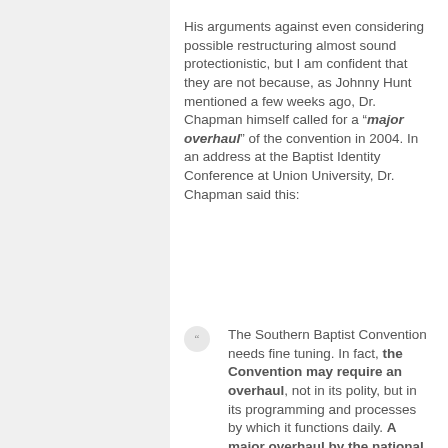His arguments against even considering possible restructuring almost sound protectionistic, but I am confident that they are not because, as Johnny Hunt mentioned a few weeks ago, Dr. Chapman himself called for a "“major overhaul”" of the convention in 2004. In an address at the Baptist Identity Conference at Union University, Dr. Chapman said this:
The Southern Baptist Convention needs fine tuning. In fact, the Convention may require an overhaul, not in its polity, but in its programming and processes by which it functions daily. A major overhaul by the national Convention and the state conventions appears to be an absolute necessity, letting the